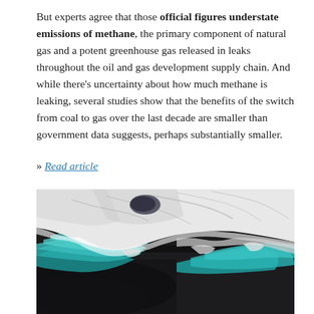But experts agree that those official figures understate emissions of methane, the primary component of natural gas and a potent greenhouse gas released in leaks throughout the oil and gas development supply chain. And while there's uncertainty about how much methane is leaking, several studies show that the benefits of the switch from coal to gas over the last decade are smaller than government data suggests, perhaps substantially smaller.
» Read article
[Figure (photo): Aerial satellite photograph of a glacier edge meeting dark ocean water, with turquoise/teal colored water visible along the ice boundary and white ice sheet extending across the image.]